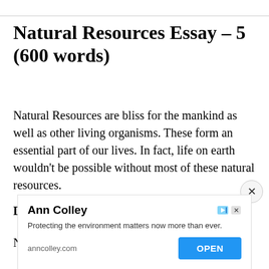Natural Resources Essay – 5 (600 words)
Natural Resources are bliss for the mankind as well as other living organisms. These form an essential part of our lives. In fact, life on earth wouldn't be possible without most of these natural resources.
Distribution of Natural Resources
Natural resources are distributed unevenly on
[Figure (other): Advertisement overlay for Ann Colley. Title: Ann Colley. Description: Protecting the environment matters now more than ever. URL: anncolley.com. Button: OPEN]